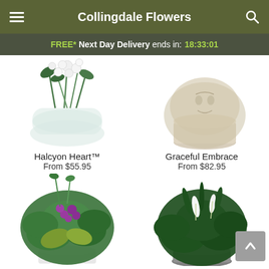Collingdale Flowers
FREE* Next Day Delivery ends in: 18:33:01
[Figure (photo): White flower arrangement in a clear glass vase - Halcyon Heart product photo]
Halcyon Heart™
From $55.95
[Figure (photo): Plant in a white/cream textured pot - Graceful Embrace product photo]
Graceful Embrace
From $82.95
[Figure (photo): Green foliage plant with purple orchid flowers in white container]
[Figure (photo): Dark green peace lily plant with white blooms in grey/silver container]